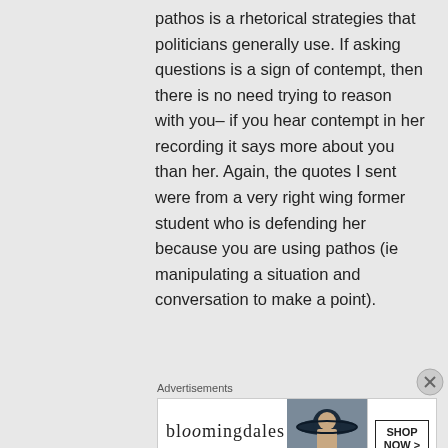pathos is a rhetorical strategies that politicians generally use. If asking questions is a sign of contempt, then there is no need trying to reason with you– if you hear contempt in her recording it says more about you than her. Again, the quotes I sent were from a very right wing former student who is defending her because you are using pathos (ie manipulating a situation and conversation to make a point).
Advertisements
[Figure (other): Bloomingdale's advertisement banner with logo, 'View Today's Top Deals!' text, image of woman in wide-brim hat, and 'SHOP NOW >' button]